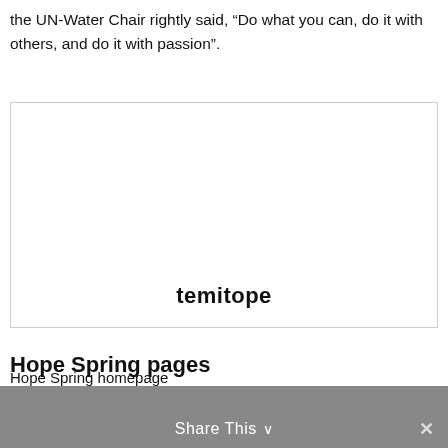the UN-Water Chair rightly said, “Do what you can, do it with others, and do it with passion”.
[Figure (other): Blank white image box with bold watermark text 'temitope' near the bottom center]
Hope Spring pages
Link to other Hope Spring water pages
Hope Spring homepage
Hope Spring eBay Shop
Share This ∨ ×